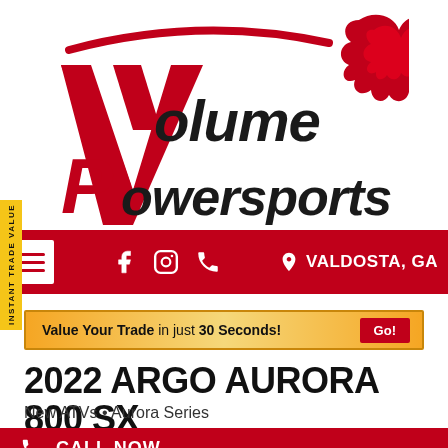[Figure (logo): Volume Powersports logo with large red stylized V and P letters, 'olume' and 'owersports' text in black, red flame graphic on right side]
[Figure (infographic): Red navigation bar with white hamburger menu icon, Facebook icon, Instagram icon, phone icon, location pin icon, and text 'VALDOSTA, GA']
INSTANT TRADE VALUE
Value Your Trade in just 30 Seconds! Go!
2022 ARGO AURORA 800 SX
New ATVs • Aurora Series
CALL NOW